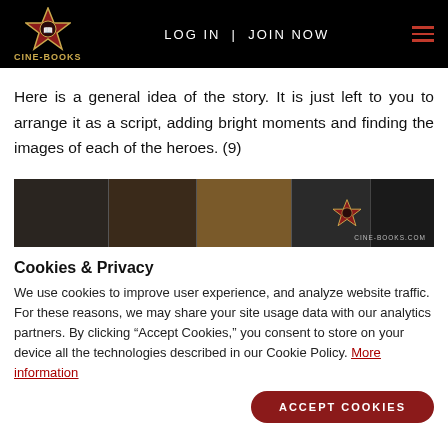CINE-BOOKS | LOG IN | JOIN NOW
Here is a general idea of the story. It is just left to you to arrange it as a script, adding bright moments and finding the images of each of the heroes. (9)
[Figure (screenshot): Cine-Books.com banner with dark film strip panels and gold star logo on right side]
Cookies & Privacy
We use cookies to improve user experience, and analyze website traffic. For these reasons, we may share your site usage data with our analytics partners. By clicking “Accept Cookies,” you consent to store on your device all the technologies described in our Cookie Policy. More information
ACCEPT COOKIES